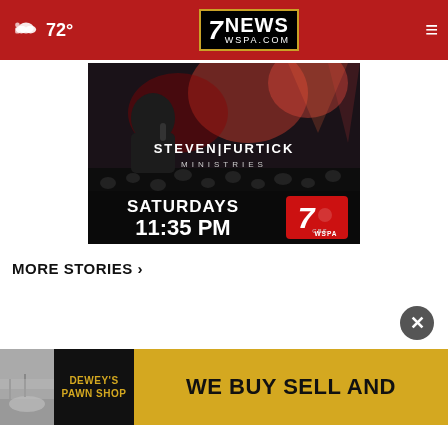72° — 7NEWS WSPA.COM
[Figure (photo): Steven Furtick Ministries advertisement showing pastor on stage with crowd and lights, text reading STEVEN FURTICK MINISTRIES SATURDAYS 11:35 PM with WSPA 7 logo]
MORE STORIES ›
[Figure (photo): Thumbnail image of foggy outdoor scene, partial view]
DEWEY'S PAWN SHOP — WE BUY SELL AND